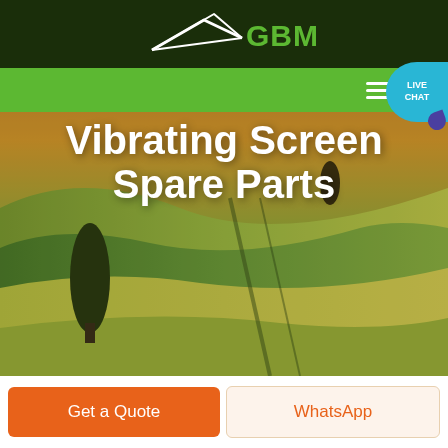[Figure (logo): GBM logo with stylized arrow/wing graphic in white on dark green background, with 'GBM' text in green]
[Figure (screenshot): Navigation bar in bright green with hamburger menu icon on the right, and a teal Live Chat bubble button overlapping the right edge]
Vibrating Screen Spare Parts
[Figure (photo): Aerial photo of agricultural fields with rolling green and golden terrain, a dark cypress tree on the left and a small figure/tree in the background right, used as hero background]
Get a Quote
WhatsApp